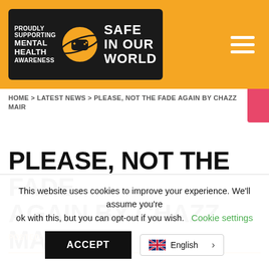[Figure (logo): Safe In Our World logo on orange header bar with hamburger menu icon]
HOME > LATEST NEWS > PLEASE, NOT THE FADE AGAIN BY CHAZZ MAIR
PLEASE, NOT THE FADE AGAIN BY CHAZZ MAIR
POSTED: 27 MAY 2021
This website uses cookies to improve your experience. We'll assume you're ok with this, but you can opt-out if you wish. Cookie settings ACCEPT English